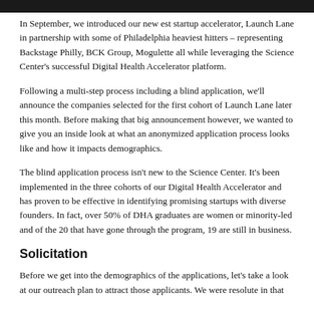In September, we introduced our new est startup accelerator, Launch Lane in partnership with some of Philadelphia heaviest hitters – representing Backstage Philly, BCK Group, Mogulette all while leveraging the Science Center's successful Digital Health Accelerator platform.
Following a multi-step process including a blind application, we'll announce the companies selected for the first cohort of Launch Lane later this month. Before making that big announcement however, we wanted to give you an inside look at what an anonymized application process looks like and how it impacts demographics.
The blind application process isn't new to the Science Center. It's been implemented in the three cohorts of our Digital Health Accelerator and has proven to be effective in identifying promising startups with diverse founders. In fact, over 50% of DHA graduates are women or minority-led and of the 20 that have gone through the program, 19 are still in business.
Solicitation
Before we get into the demographics of the applications, let's take a look at our outreach plan to attract those applicants. We were resolute in that